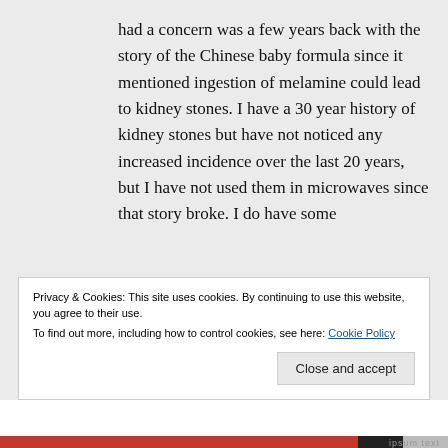had a concern was a few years back with the story of the Chinese baby formula since it mentioned ingestion of melamine could lead to kidney stones. I have a 30 year history of kidney stones but have not noticed any increased incidence over the last 20 years, but I have not used them in microwaves since that story broke. I do have some
Privacy & Cookies: This site uses cookies. By continuing to use this website, you agree to their use.
To find out more, including how to control cookies, see here: Cookie Policy
Close and accept